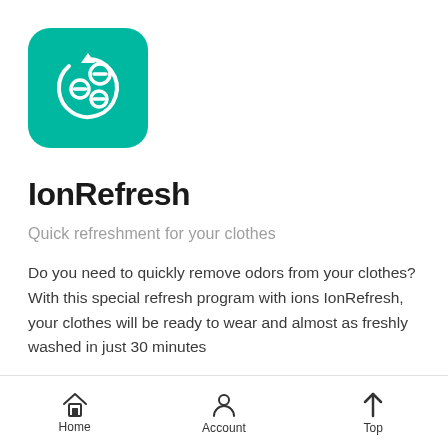[Figure (logo): Teal rounded square app icon featuring ion/bubble symbols with a circular arrow, white graphics on teal background]
IonRefresh
Quick refreshment for your clothes
Do you need to quickly remove odors from your clothes? With this special refresh program with ions IonRefresh, your clothes will be ready to wear and almost as freshly washed in just 30 minutes
[Figure (other): Teal rounded pill button (partially visible)]
Home   Account   Top